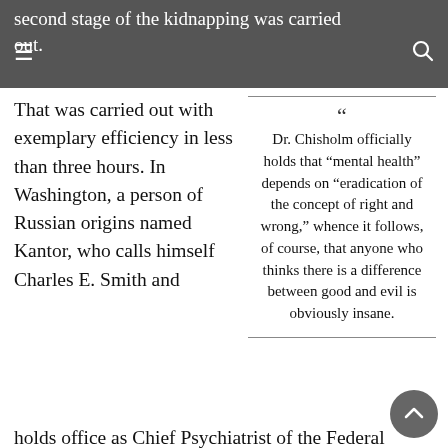second stage of the kidnapping was carried out.
That was carried out with exemplary efficiency in less than three hours. In Washington, a person of Russian origins named Kantor, who calls himself Charles E. Smith and holds office as Chief Psychiatrist of the Federal Bureau of Prisons and was therefore another of Bobby Kennedy's subordinates, dutifully decided that General Walker was probably insane. This man of science later testified that he was
Dr. Chisholm officially holds that “mental health” depends on “eradication of the concept of right and wrong,” whence it follows, of course, that anyone who thinks there is a difference between good and evil is obviously insane.